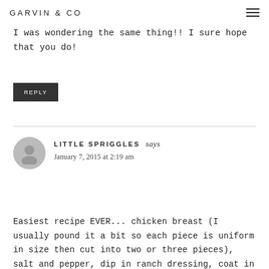GARVIN & CO
I was wondering the same thing!! I sure hope that you do!
REPLY
LITTLE SPRIGGLES says
January 7, 2015 at 2:19 am
Easiest recipe EVER... chicken breast (I usually pound it a bit so each piece is uniform in size then cut into two or three pieces), salt and pepper, dip in ranch dressing, coat in 50/50 mixture cheddar cheese and panko